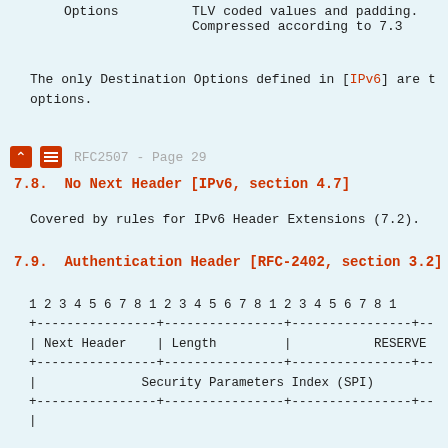| Options | TLV coded values and padding. |
|  | Compressed according to 7.3 |
The only Destination Options defined in [IPv6] are t options.
RFC2507 - Page 29
7.8.  No Next Header [IPv6, section 4.7]
Covered by rules for IPv6 Header Extensions (7.2).
7.9.  Authentication Header [RFC-2402, section 3.2]
1 2 3 4 5 6 7 8 1 2 3 4 5 6 7 8 1 2 3 4 5 6 7 8 1
+----------------+----------------+----------------+--
| Next Header    | Length         |           RESERVE
+----------------+----------------+----------------+--
|              Security Parameters Index (SPI)
+----------------+----------------+----------------+--
|